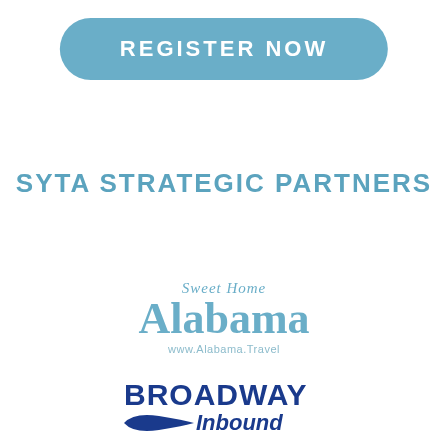[Figure (other): Register Now button — rounded rectangle with steel blue background and white uppercase bold text]
SYTA STRATEGIC PARTNERS
[Figure (logo): Sweet Home Alabama travel logo with 'Sweet Home' in italic above large 'Alabama' text, and 'www.Alabama.Travel' below]
[Figure (logo): Broadway Inbound logo with 'BROADWAY' in bold dark blue uppercase, a blue swoosh ribbon, and 'Inbound' in italic next to it]